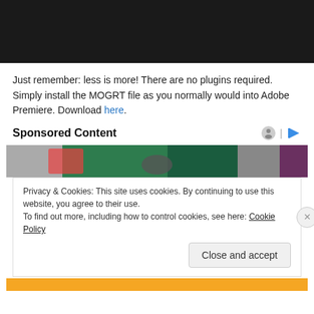[Figure (photo): Black/dark bar at top of page, appears to be a video player or image with dark background]
Just remember: less is more! There are no plugins required. Simply install the MOGRT file as you normally would into Adobe Premiere. Download here.
Sponsored Content
[Figure (photo): Photo of people in what appears to be a legislative or conference setting, partially visible]
Privacy & Cookies: This site uses cookies. By continuing to use this website, you agree to their use.
To find out more, including how to control cookies, see here: Cookie Policy
Close and accept